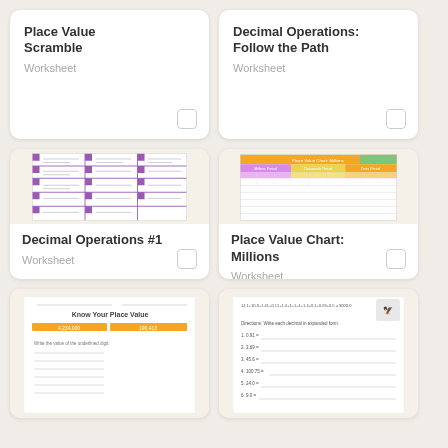Place Value Scramble
Worksheet
Decimal Operations: Follow the Path
Worksheet
[Figure (illustration): Preview of Decimal Operations #1 worksheet showing a grid with math problems]
Decimal Operations #1
Worksheet
[Figure (table-as-image): Preview of Place Value Chart: Millions worksheet with colored header sections for Millions Period, Thousands Period, Ones Period]
Place Value Chart: Millions
Worksheet
[Figure (illustration): Partial preview of Know Your Place Value worksheet]
[Figure (illustration): Partial preview of a decimal expanded form worksheet]